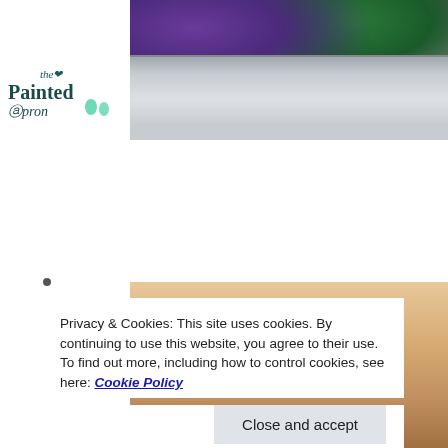[Figure (photo): Top photo showing a decorative silver tray with purple and green ornaments/decorations, overlaid with 'the Painted Apron' logo in teal/dark green lettering with illustrated water drops]
[Figure (photo): Bottom photo partially visible showing food items on a wooden surface with Mardi Gras colored decorations]
Privacy & Cookies: This site uses cookies. By continuing to use this website, you agree to their use.
To find out more, including how to control cookies, see here: Cookie Policy
Close and accept